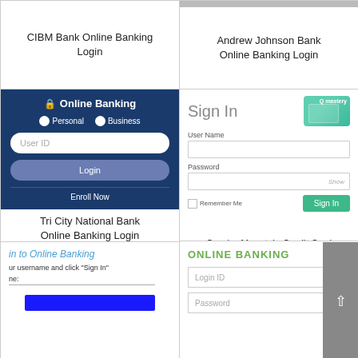CIBM Bank Online Banking Login
[Figure (screenshot): Andrew Johnson Bank Online Banking Login – top gray bar visible, then title text below]
Andrew Johnson Bank Online Banking Login
[Figure (screenshot): Tri City National Bank online banking widget with dark blue background, lock icon, Online Banking header, Personal/Business radio buttons, User ID input field, Login button, and Enroll Now link]
Tri City National Bank Online Banking Login
[Figure (screenshot): Gander Mountain Credit Card online login – Sign In heading with teal card image, User Name field, Password field with Show, Remember Me checkbox, and Sign In green button]
Gander Mountain Credit Card Online Login
[Figure (screenshot): Partial online banking login widget – 'in to Online Banking' heading in blue italic, text about username and Sign In, partial name field, and a blue button]
[Figure (screenshot): ONLINE BANKING section with green heading, Login ID input field, Password field, and a scroll-to-top button on the right]